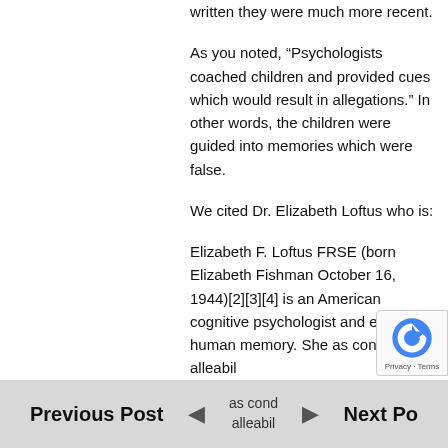written they were much more recent.
As you noted, “Psychologists coached children and provided cues which would result in allegations.” In other words, the children were guided into memories which were false.
We cited Dr. Elizabeth Loftus who is:
Elizabeth F. Loftus FRSE (born Elizabeth Fishman October 16, 1944)[2][3][4] is an American cognitive psychologist and expert on human memory. She has cond alleabil
Previous Post   Next Post